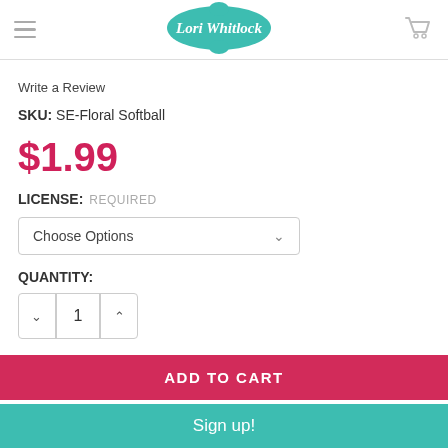Lori Whitlock
Write a Review
SKU: SE-Floral Softball
$1.99
LICENSE: REQUIRED
Choose Options
QUANTITY:
1
ADD TO CART
Sign up!